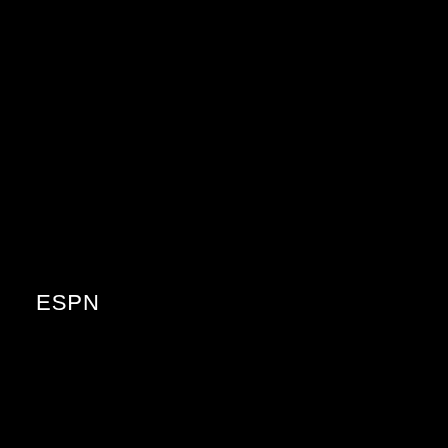[Figure (screenshot): Black background area taking up approximately the top two-thirds of the page, likely showing a dark or black screen content.]
ESPN
STREAM THOUSANDS OF LIVE EVENTS